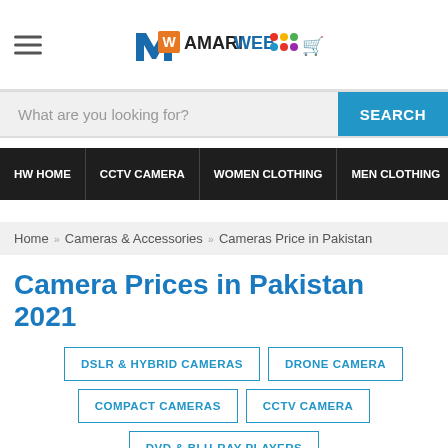HamariWeb logo and navigation header
What are you looking for? SEARCH
HW HOME | CCTV CAMERA | WOMEN CLOTHING | MEN CLOTHING | PHON...
Home » Cameras & Accessories » Cameras Price in Pakistan
Camera Prices in Pakistan 2021
DSLR & HYBRID CAMERAS
DRONE CAMERA
COMPACT CAMERAS
CCTV CAMERA
DVD & BLU-RAY PLAYERS